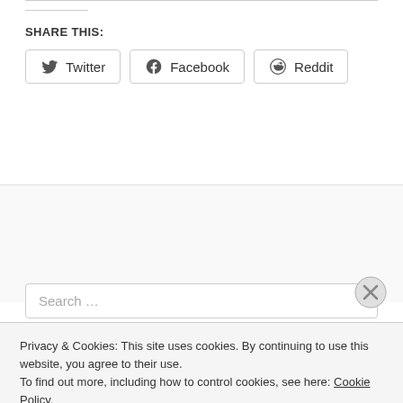SHARE THIS:
Twitter  Facebook  Reddit
Search …
Privacy & Cookies: This site uses cookies. By continuing to use this website, you agree to their use.
To find out more, including how to control cookies, see here: Cookie Policy
Close and accept